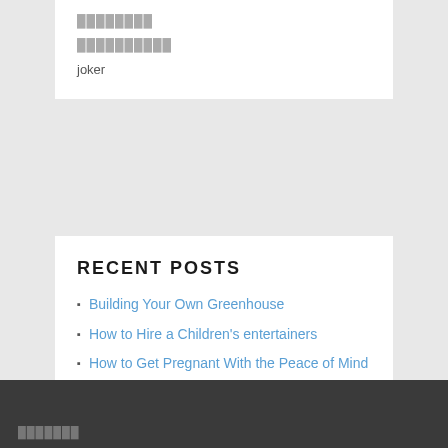████████
██████████
joker
RECENT POSTS
Building Your Own Greenhouse
How to Hire a Children's entertainers
How to Get Pregnant With the Peace of Mind
What Are the Causes of Infertility?
Designer Clothes
███████